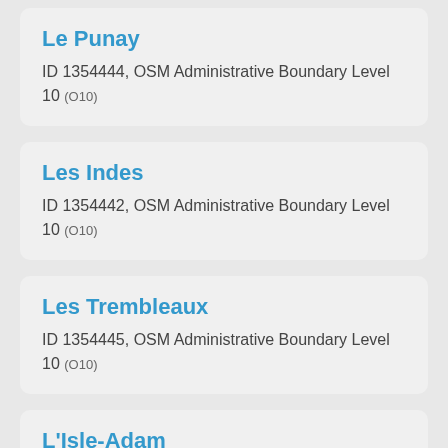Le Punay
ID 1354444, OSM Administrative Boundary Level 10 (O10)
Les Indes
ID 1354442, OSM Administrative Boundary Level 10 (O10)
Les Trembleaux
ID 1354445, OSM Administrative Boundary Level 10 (O10)
L'Isle-Adam